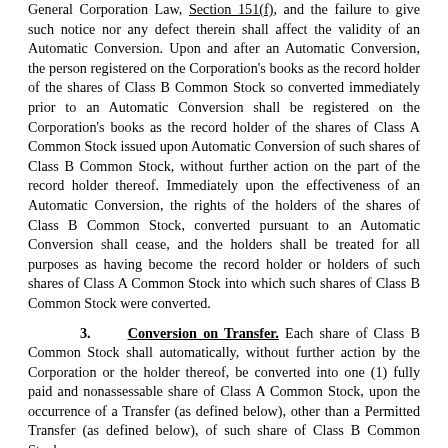General Corporation Law, Section 151(f), and the failure to give such notice nor any defect therein shall affect the validity of an Automatic Conversion. Upon and after an Automatic Conversion, the person registered on the Corporation's books as the record holder of the shares of Class B Common Stock so converted immediately prior to an Automatic Conversion shall be registered on the Corporation's books as the record holder of the shares of Class A Common Stock issued upon Automatic Conversion of such shares of Class B Common Stock, without further action on the part of the record holder thereof. Immediately upon the effectiveness of an Automatic Conversion, the rights of the holders of the shares of Class B Common Stock, converted pursuant to an Automatic Conversion shall cease, and the holders shall be treated for all purposes as having become the record holder or holders of such shares of Class A Common Stock into which such shares of Class B Common Stock were converted.
3. Conversion on Transfer. Each share of Class B Common Stock shall automatically, without further action by the Corporation or the holder thereof, be converted into one (1) fully paid and nonassessable share of Class A Common Stock, upon the occurrence of a Transfer (as defined below), other than a Permitted Transfer (as defined below), of such share of Class B Common Stock.
4. Policies and Procedures. The Corporation may, from time to time, establish such policies and procedures, not in violation of applicable law or this Restated Certificate of Incorporation or the Bylaws, relating to the conversion of shares of